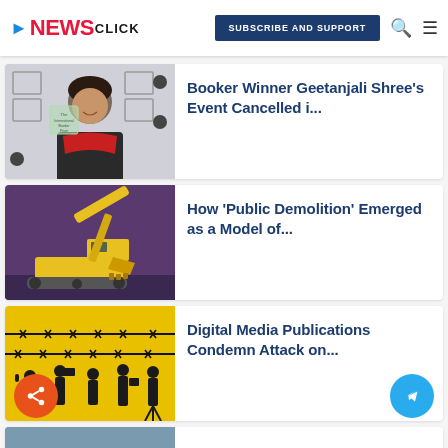NewsClick | SUBSCRIBE AND SUPPORT
[Figure (photo): Woman holding International Booker Prize award trophy, smiling, wearing red scarf]
Booker Winner Geetanjali Shree's Event Cancelled i...
[Figure (photo): Yellow excavator/bulldozer on purple background]
How 'Public Demolition' Emerged as a Model of...
[Figure (photo): Illustration of journalists/protesters silhouetted behind barbed wire on yellow background]
Digital Media Publications Condemn Attack on...
[Figure (photo): Partial bottom image, partially visible]